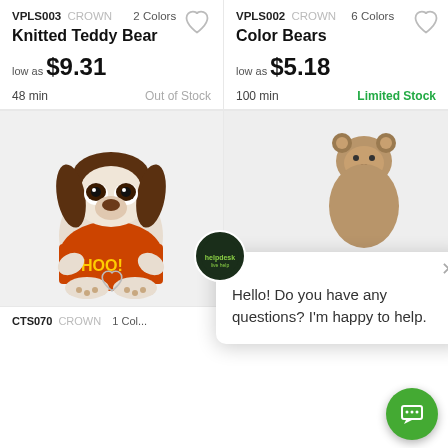VPLS003 CROWN  2 Colors
Knitted Teddy Bear
low as $9.31
48 min   Out of Stock
VPLS002 CROWN  6 Colors
Color Bears
low as $5.18
100 min   Limited Stock
[Figure (photo): Stuffed plush dog toy wearing an orange t-shirt with 'HOO!' text, white and brown coloring with floppy ears]
[Figure (photo): Stuffed plush brown teddy bear, small and fluffy, partial view]
CTS070 CROWN   1 Col...
CTS049 CROWN   1 Col...